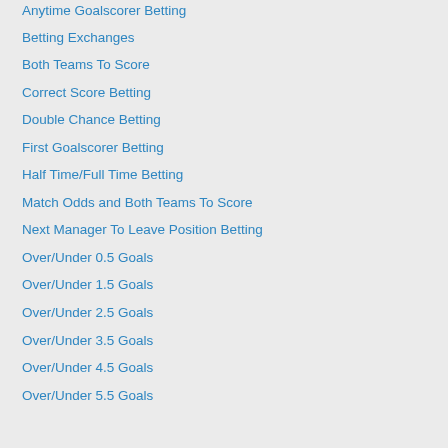Anytime Goalscorer Betting
Betting Exchanges
Both Teams To Score
Correct Score Betting
Double Chance Betting
First Goalscorer Betting
Half Time/Full Time Betting
Match Odds and Both Teams To Score
Next Manager To Leave Position Betting
Over/Under 0.5 Goals
Over/Under 1.5 Goals
Over/Under 2.5 Goals
Over/Under 3.5 Goals
Over/Under 4.5 Goals
Over/Under 5.5 Goals